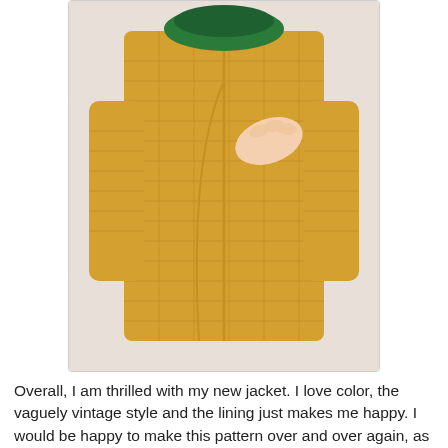[Figure (photo): Back view of a yellow/gold plaid jacket on a dress form with green collar, a hand pinching the back seam]
Overall, I am thrilled with my new jacket.  I love color, the vaguely vintage style and the lining just makes me happy.  I would be happy to make this pattern over and over again, as my jackets get worn out. Bring on the rain (but just for like, a day, please :)
[Figure (photo): Portrait photo of a woman with a brown bob haircut, smiling, light background]